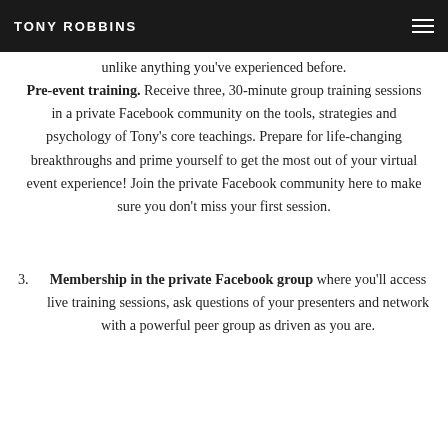TONY ROBBINS
unlike anything you've experienced before. Pre-event training. Receive three, 30-minute group training sessions in a private Facebook community on the tools, strategies and psychology of Tony's core teachings. Prepare for life-changing breakthroughs and prime yourself to get the most out of your virtual event experience! Join the private Facebook community here to make sure you don't miss your first session.
3. Membership in the private Facebook group where you'll access live training sessions, ask questions of your presenters and network with a powerful peer group as driven as you are.